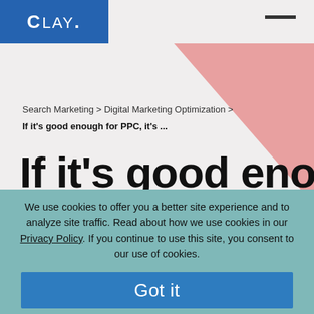CLAY.
[Figure (illustration): Pink triangular decorative shape in the top-right background area]
Search Marketing > Digital Marketing Optimization >
If it's good enough for PPC, it's ...
If it's good enough
We use cookies to offer you a better site experience and to analyze site traffic. Read about how we use cookies in our Privacy Policy. If you continue to use this site, you consent to our use of cookies.
Got it